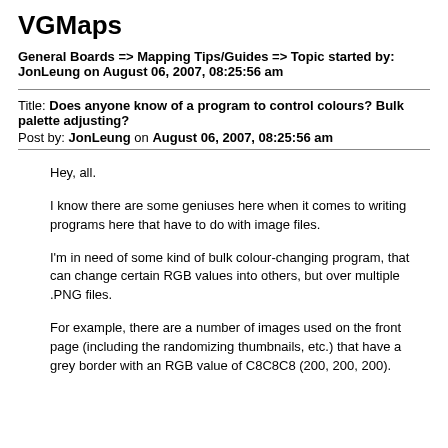VGMaps
General Boards => Mapping Tips/Guides => Topic started by: JonLeung on August 06, 2007, 08:25:56 am
Title: Does anyone know of a program to control colours? Bulk palette adjusting?
Post by: JonLeung on August 06, 2007, 08:25:56 am
Hey, all.
I know there are some geniuses here when it comes to writing programs here that have to do with image files.
I'm in need of some kind of bulk colour-changing program, that can change certain RGB values into others, but over multiple .PNG files.
For example, there are a number of images used on the front page (including the randomizing thumbnails, etc.) that have a grey border with an RGB value of C8C8C8 (200, 200, 200).